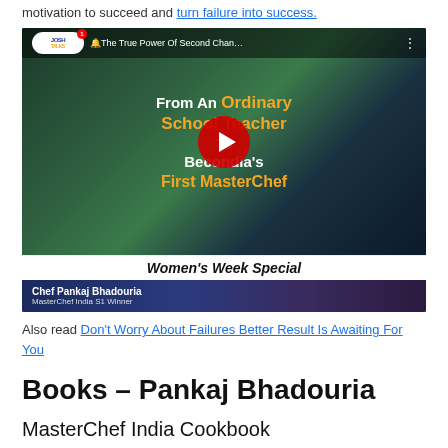motivation to succeed and turn failure into success.
[Figure (screenshot): YouTube video thumbnail: Josh Talks video titled 'The True Power Of Second Chances... From An Ordinary School Teacher To Become India's First MasterChef' - Women's Week Special featuring Chef Pankaj Bhadouria, MasterChef India S1 Winner]
Also read Don't Worry About Failures Better Result Is Awaiting For You
Books – Pankaj Bhadouria
MasterChef India Cookbook